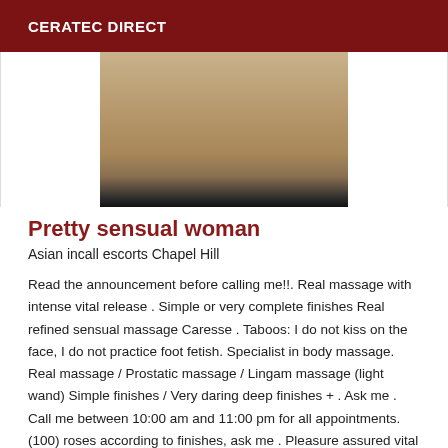CERATEC DIRECT
[Figure (photo): Photo showing legs of a woman wearing pink high heels, seated on a stool on a wooden floor]
Pretty sensual woman
Asian incall escorts Chapel Hill
Read the announcement before calling me!!. Real massage with intense vital release . Simple or very complete finishes Real refined sensual massage Caresse . Taboos: I do not kiss on the face, I do not practice foot fetish. Specialist in body massage. Real massage / Prostatic massage / Lingam massage (light wand) Simple finishes / Very daring deep finishes + . Ask me . Call me between 10:00 am and 11:00 pm for all appointments. (100) roses according to finishes, ask me . Pleasure assured vital liberation . No surprise with me